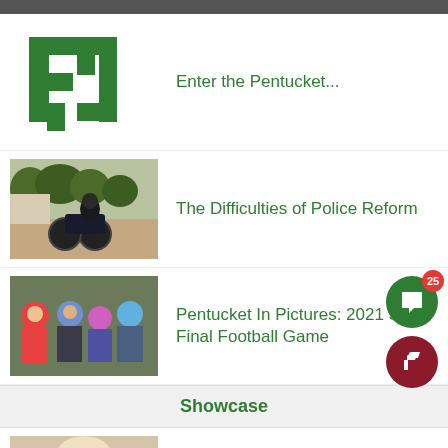[Figure (photo): Dark top strip image cropped]
[Figure (logo): Pentucket green logo mark — stylized letter P in dark green]
Enter the Pentucket...
[Figure (photo): Police officer on motorcycle in a park or street]
The Difficulties of Police Reform
[Figure (photo): Group of people in costumes at a football game or event]
Pentucket In Pictures: 2021 Semi-Final Football Game
Showcase
[Figure (photo): Funko Pop figure, white/orange colored item]
Funky Funko Pops!